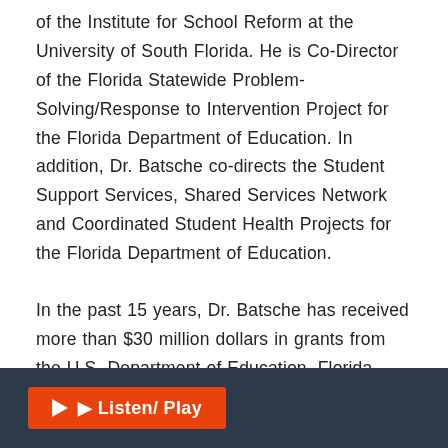of the Institute for School Reform at the University of South Florida. He is Co-Director of the Florida Statewide Problem-Solving/Response to Intervention Project for the Florida Department of Education. In addition, Dr. Batsche co-directs the Student Support Services, Shared Services Network and Coordinated Student Health Projects for the Florida Department of Education.
In the past 15 years, Dr. Batsche has received more than $30 million dollars in grants from the U.S. Department of Education, Florida Department of Education and private foundations. The majority of his work has focused on systems of implementing
Listen/ Play